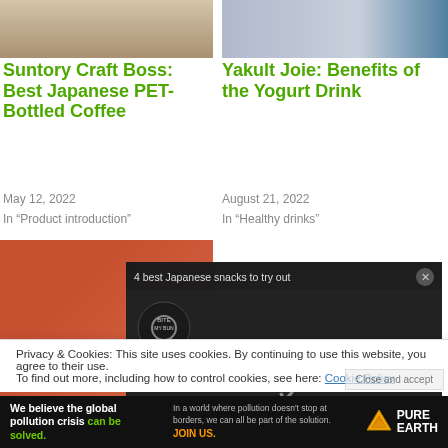[Figure (photo): Nail polish bottles photo top left]
[Figure (photo): Yakult Joie product photo top right]
Suntory Craft Boss: Best Japanese PET-Bottled Coffee
Yakult Joie: Benefits of the Yogurt Drink
May 12, 2022
August 21, 2022
In "Product introduction"
In "Healthy drinks"
[Figure (photo): Yakult 1000 bottle photo bottom left]
Yakult 1000 Benefits Y1000 B...
[Figure (screenshot): Video overlay: 4 best Japanese snacks to try out - No compatible source was found for this media.]
Privacy & Cookies: This site uses cookies. By continuing to use this website, you agree to their use.
To find out more, including how to control cookies, see here: Cookie Policy
[Figure (photo): Pure Earth advertisement banner at bottom]